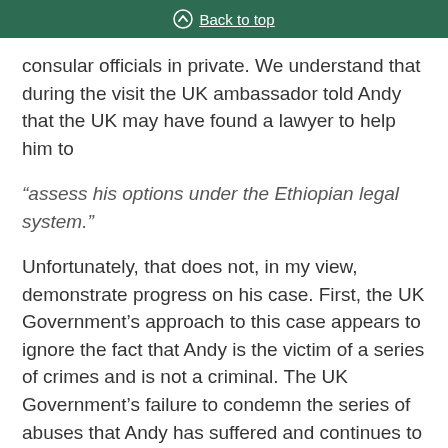Back to top
consular officials in private. We understand that during the visit the UK ambassador told Andy that the UK may have found a lawyer to help him to
“assess his options under the Ethiopian legal system.”
Unfortunately, that does not, in my view, demonstrate progress on his case. First, the UK Government’s approach to this case appears to ignore the fact that Andy is the victim of a series of crimes and is not a criminal. The UK Government’s failure to condemn the series of abuses that Andy has suffered and continues to suffer at the hands of the Ethiopian regime signals that foreign Governments can ignore international law and